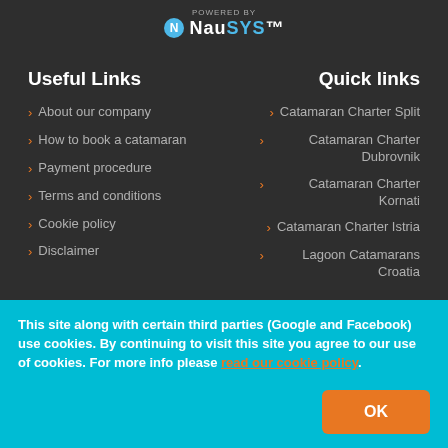POWERED BY NauSYS
Useful Links
Quick links
About our company
How to book a catamaran
Payment procedure
Terms and conditions
Cookie policy
Disclaimer
Catamaran Charter Split
Catamaran Charter Dubrovnik
Catamaran Charter Kornati
Catamaran Charter Istria
Lagoon Catamarans Croatia
seen in
This site along with certain third parties (Google and Facebook) use cookies. By continuing to visit this site you agree to our use of cookies. For more info please read our cookie policy.